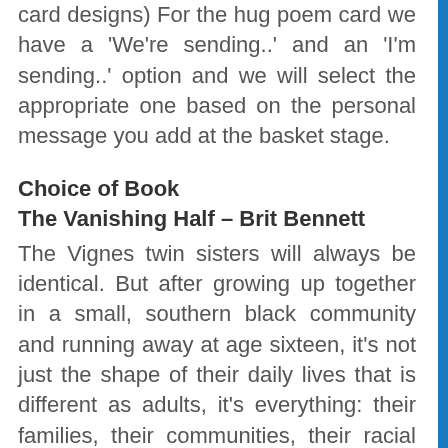card designs) For the hug poem card we have a 'We're sending..' and an 'I'm sending..' option and we will select the appropriate one based on the personal message you add at the basket stage.
Choice of Book
The Vanishing Half – Brit Bennett
The Vignes twin sisters will always be identical. But after growing up together in a small, southern black community and running away at age sixteen, it's not just the shape of their daily lives that is different as adults, it's everything: their families, their communities, their racial identities. Ten years later, one sister lives with her black daughter in the same